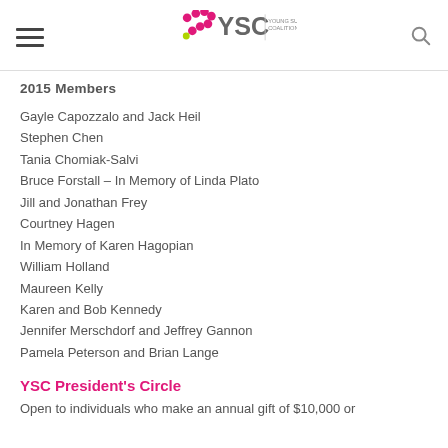YSC Young Survival Coalition
2015 Members
Gayle Capozzalo and Jack Heil
Stephen Chen
Tania Chomiak-Salvi
Bruce Forstall – In Memory of Linda Plato
Jill and Jonathan Frey
Courtney Hagen
In Memory of Karen Hagopian
William Holland
Maureen Kelly
Karen and Bob Kennedy
Jennifer Merschdorf and Jeffrey Gannon
Pamela Peterson and Brian Lange
YSC President's Circle
Open to individuals who make an annual gift of $10,000 or